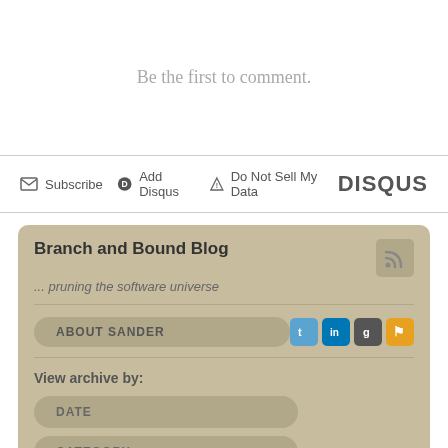Be the first to comment.
Subscribe   Add Disqus   Do Not Sell My Data   DISQUS
Branch and Bound Blog
... pruning the software universe
ABOUT SANDER
View archive by:
DATE
CATEGORY
TAG